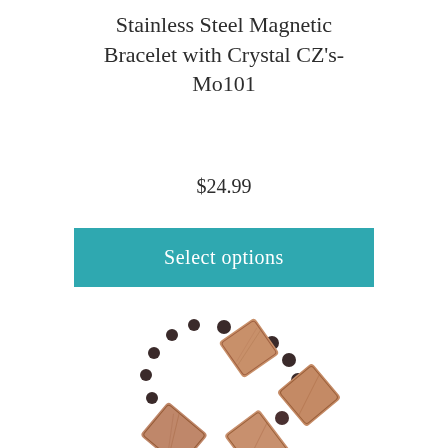Stainless Steel Magnetic Bracelet with Crystal CZ's-Mo101
$24.99
Select options
[Figure (photo): A bracelet made of large diamond-shaped brownish shell or wood beads alternating with small dark round beads, arranged in a circular shape on a white background.]